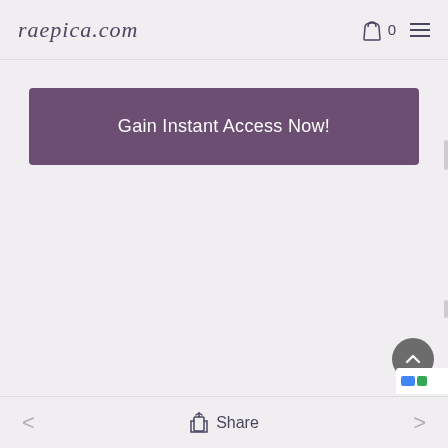raepica.com
Gain Instant Access Now!
[Figure (other): Scroll-to-top circular button with upward chevron arrow, dark grey background]
< Share >